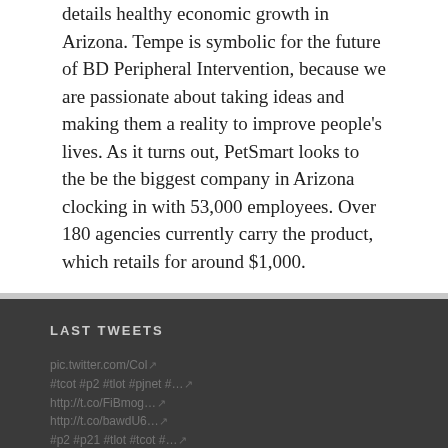details healthy economic growth in Arizona. Tempe is symbolic for the future of BD Peripheral Intervention, because we are passionate about taking ideas and making them a reality to improve people's lives. As it turns out, PetSmart looks to the be the biggest company in Arizona clocking in with 53,000 employees. Over 180 agencies currently carry the product, which retails for around $1,000.
LAST TWEETS
pic.twitter.com/Col... #tcot #p2 #tlot #pjnet #… http://t.co/FiBmog… http://t.co/bawdU6… #p2 #p21 #tlot #tcot #… business #p2 #tcot #… Arizona Policy #new… more about this…